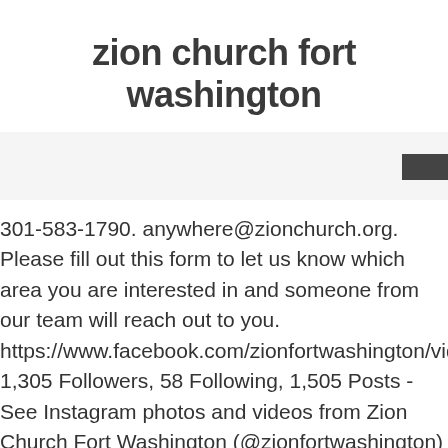zion church fort washington
301-583-1790. anywhere@zionchurch.org. Please fill out this form to let us know which area you are interested in and someone from our team will reach out to you. https://www.facebook.com/zionfortwashington/videos/82016620 1,305 Followers, 58 Following, 1,505 Posts - See Instagram photos and videos from Zion Church Fort Washington (@zionfortwashington) Service Times. Name First Last; 8:00 am, 10:00 am, 12:00 pm, 8:00 pm, 10:00 pm EST. Church Online is a place for you to experience God and connect with